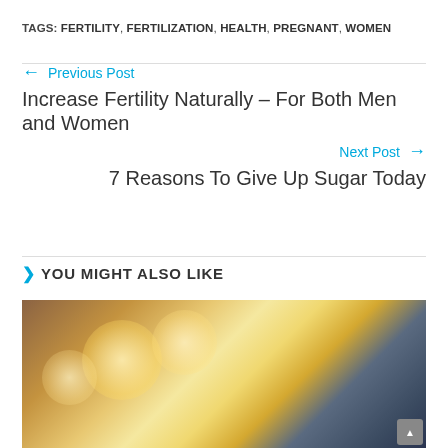TAGS: FERTILITY, FERTILIZATION, HEALTH, PREGNANT, WOMEN
← Previous Post
Increase Fertility Naturally – For Both Men and Women
Next Post →
7 Reasons To Give Up Sugar Today
> YOU MIGHT ALSO LIKE
[Figure (photo): Bokeh background photo of a couple, with warm glowing lights in the background]